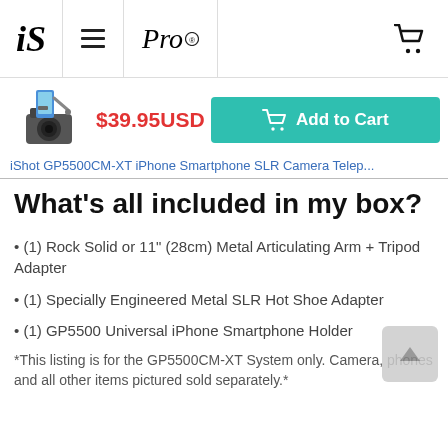iS  ≡  Pro  🛒
[Figure (photo): Product thumbnail of iShot GP5500CM-XT mounted on a DSLR camera with smartphone holder arm]
$39.95USD
Add to Cart
iShot GP5500CM-XT iPhone Smartphone SLR Camera Telep...
What's all included in my box?
• (1) Rock Solid or 11" (28cm) Metal Articulating Arm + Tripod Adapter
• (1) Specially Engineered Metal SLR Hot Shoe Adapter
• (1) GP5500 Universal iPhone Smartphone Holder
*This listing is for the GP5500CM-XT System only. Camera, phones and all other items pictured sold separately.*